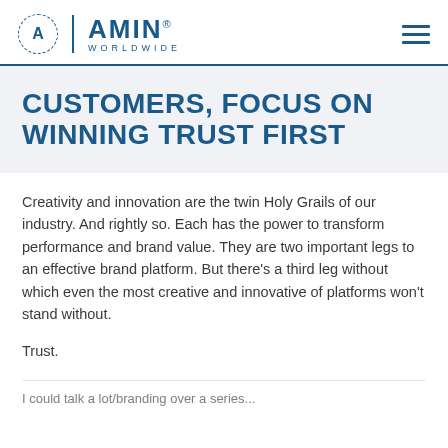AMIN WORLDWIDE
CUSTOMERS, FOCUS ON WINNING TRUST FIRST
Creativity and innovation are the twin Holy Grails of our industry. And rightly so. Each has the power to transform performance and brand value. They are two important legs to an effective brand platform. But there's a third leg without which even the most creative and innovative of platforms won't stand without.
Trust.
(cut off text at bottom)